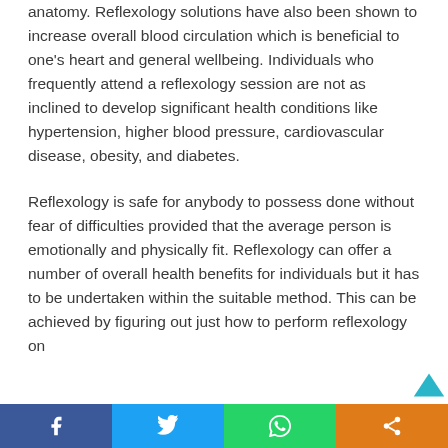anatomy. Reflexology solutions have also been shown to increase overall blood circulation which is beneficial to one's heart and general wellbeing. Individuals who frequently attend a reflexology session are not as inclined to develop significant health conditions like hypertension, higher blood pressure, cardiovascular disease, obesity, and diabetes.
Reflexology is safe for anybody to possess done without fear of difficulties provided that the average person is emotionally and physically fit. Reflexology can offer a number of overall health benefits for individuals but it has to be undertaken within the suitable method. This can be achieved by figuring out just how to perform reflexology on
Social share bar: Facebook, Twitter, WhatsApp, Share